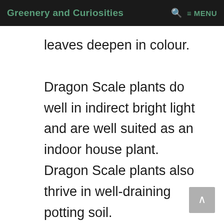Greenery and Curiosities  🔍  ≡ MENU
leaves deepen in colour.

Dragon Scale plants do well in indirect bright light and are well suited as an indoor house plant. Dragon Scale plants also thrive in well-draining potting soil.